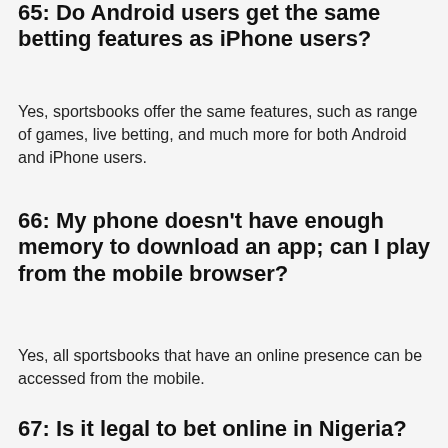65: Do Android users get the same betting features as iPhone users?
Yes, sportsbooks offer the same features, such as range of games, live betting, and much more for both Android and iPhone users.
66: My phone doesn't have enough memory to download an app; can I play from the mobile browser?
Yes, all sportsbooks that have an online presence can be accessed from the mobile.
67: Is it legal to bet online in Nigeria?